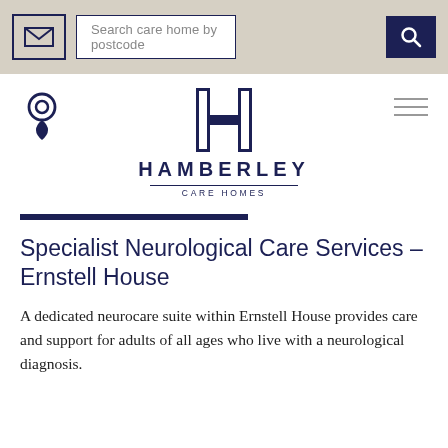Search care home by postcode
[Figure (logo): Hamberley Care Homes logo — stylized H mark with HAMBERLEY in caps and CARE HOMES below]
Specialist Neurological Care Services – Ernstell House
A dedicated neurocare suite within Ernstell House provides care and support for adults of all ages who live with a neurological diagnosis.